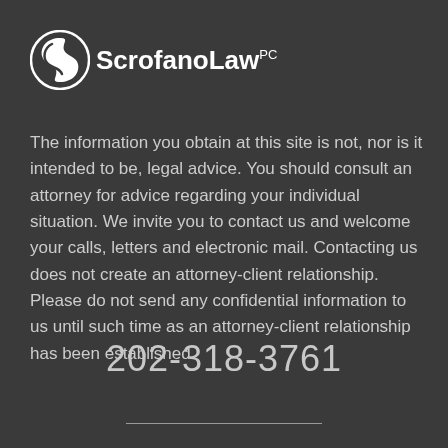[Figure (logo): ScrofanoLaw PC logo with stylized S icon in a circle]
The information you obtain at this site is not, nor is it intended to be, legal advice. You should consult an attorney for advice regarding your individual situation. We invite you to contact us and welcome your calls, letters and electronic mail. Contacting us does not create an attorney-client relationship. Please do not send any confidential information to us until such time as an attorney-client relationship has been established.
202-318-3761